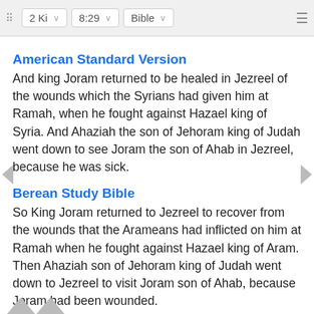2 Ki  8:29  Bible
American Standard Version
And king Joram returned to be healed in Jezreel of the wounds which the Syrians had given him at Ramah, when he fought against Hazael king of Syria. And Ahaziah the son of Jehoram king of Judah went down to see Joram the son of Ahab in Jezreel, because he was sick.
Berean Study Bible
So King Joram returned to Jezreel to recover from the wounds that the Arameans had inflicted on him at Ramah when he fought against Hazael king of Aram. Then Ahaziah son of Jehoram king of Judah went down to Jezreel to visit Joram son of Ahab, because Joram had been wounded.
Doua
And h
[Figure (screenshot): BitLife advertisement banner: 'NOW WITH GOD MODE' with hand pointing graphic]